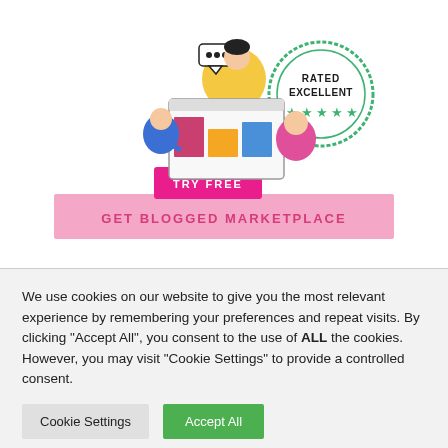[Figure (illustration): Get Blogged Marketplace promotional banner with illustrated characters using computers, a pink 'TRY FREE' button, pink banner reading 'GET BLOGGED MARKETPLACE', and a green circular 'RATED EXCELLENT' stamp with stars.]
We use cookies on our website to give you the most relevant experience by remembering your preferences and repeat visits. By clicking "Accept All", you consent to the use of ALL the cookies. However, you may visit "Cookie Settings" to provide a controlled consent.
Cookie Settings
Accept All